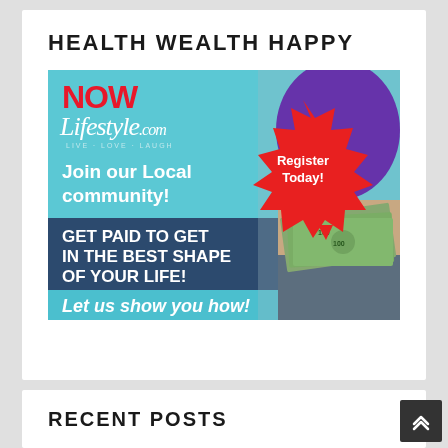HEALTH WEALTH HAPPY
[Figure (illustration): NOW Lifestyle.com advertisement banner. Light blue background with a person in purple top holding money. Text reads: Join our Local community!, Register Today! (red starburst), GET PAID TO GET IN THE BEST SHAPE OF YOUR LIFE!, Let us show you how!]
RECENT POSTS